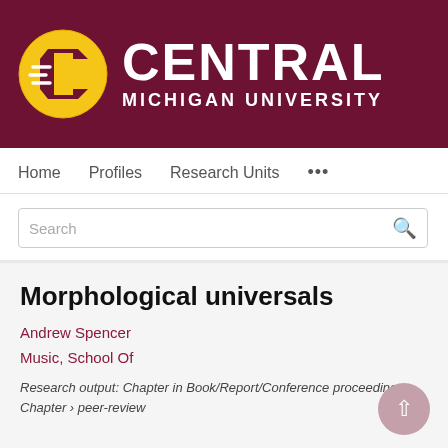[Figure (logo): Central Michigan University logo: gold and maroon circular CMU mark on left, with CENTRAL in large white bold text and MICHIGAN UNIVERSITY in smaller white bold text on a maroon banner background]
Home   Profiles   Research Units   ...
Search
Morphological universals
Andrew Spencer
Music, School Of
Research output: Chapter in Book/Report/Conference proceeding › Chapter › peer-review